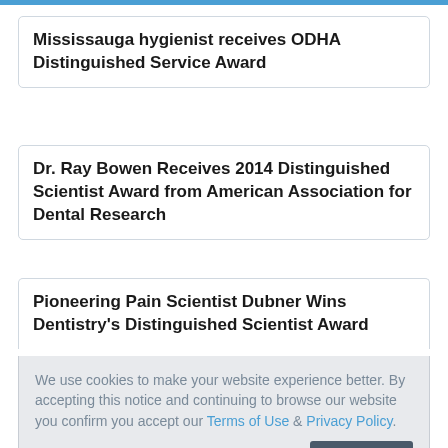Mississauga hygienist receives ODHA Distinguished Service Award
Dr. Ray Bowen Receives 2014 Distinguished Scientist Award from American Association for Dental Research
Pioneering Pain Scientist Dubner Wins Dentistry's Distinguished Scientist Award
We use cookies to make your website experience better. By accepting this notice and continuing to browse our website you confirm you accept our Terms of Use & Privacy Policy.

read more >>    I Accept